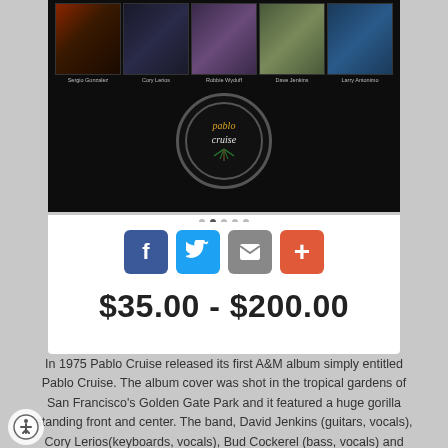[Figure (photo): Band member photos showing Sergio Gonzalez, Cory Lerios, Robbie Wyduff, Dave Jenkins, Larry Antonimo across a dark background, with Pablo Cruise circular logo below]
[Figure (infographic): Social sharing buttons: Facebook (blue), Twitter (light blue), Email (gray), Plus/More (orange-red)]
$35.00 - $200.00
In 1975 Pablo Cruise released its first A&M album simply entitled Pablo Cruise. The album cover was shot in the tropical gardens of San Francisco's Golden Gate Park and it featured a huge gorilla standing front and center. The band, David Jenkins (guitars, vocals), Cory Lerios(keyboards, vocals), Bud Cockerel (bass, vocals) and Steve Price (drums, percussion) were no where in